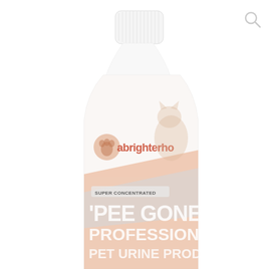[Figure (photo): A white plastic bottle of 'Pee Gone!' Professional Pet Urine product by 'a brighter home', labeled as Super Concentrated, with an orange/peach label featuring a cat image. The bottle has a white screw cap.]